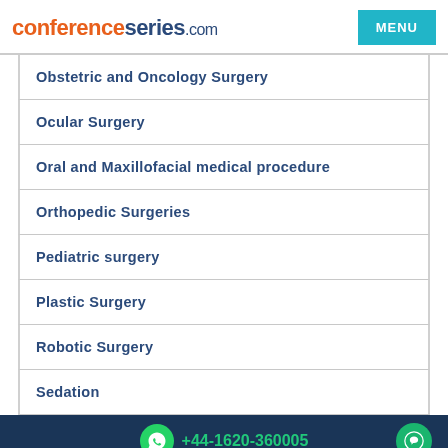conferenceseries.com | MENU
Obstetric and Oncology Surgery
Ocular Surgery
Oral and Maxillofacial medical procedure
Orthopedic Surgeries
Pediatric surgery
Plastic Surgery
Robotic Surgery
Sedation
+44-1620-360005
Steroid Anesthesia